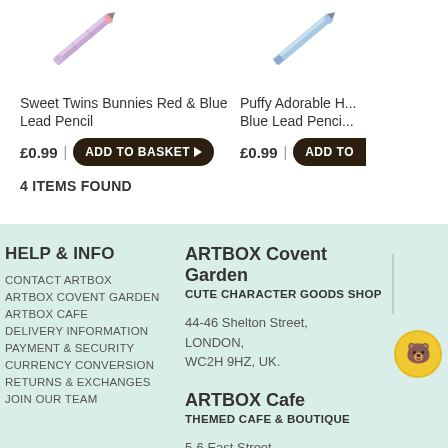[Figure (photo): Product image of Sweet Twins Bunnies Red & Blue Lead Pencil (partially visible, diagonal orientation)]
Sweet Twins Bunnies Red & Blue Lead Pencil
£0.99 | ADD TO BASKET
[Figure (photo): Product image of Puffy Adorable Blue Lead Pencil (partially visible, diagonal orientation)]
Puffy Adorable Blue Lead Pencil (partially cut off)
£0.99 | ADD TO
4 ITEMS FOUND
HELP & INFO
CONTACT ARTBOX
ARTBOX COVENT GARDEN
ARTBOX CAFE
DELIVERY INFORMATION
PAYMENT & SECURITY
CURRENCY CONVERSION
RETURNS & EXCHANGES
JOIN OUR TEAM
ARTBOX Covent Garden
CUTE CHARACTER GOODS SHOP
44-46 Shelton Street, LONDON, WC2H 9HZ, UK.
ARTBOX Cafe
THEMED CAFE & BOUTIQUE
5-6 East Street, BRIGHTON, BN1 1HP, UK.
[Figure (logo): Circular logo partially visible on right side]